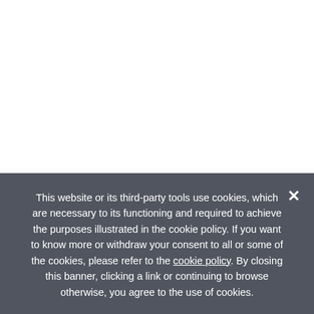- Fixes an intermittent issue where a "blu
Updated: December 11th 2013
Avaya Wireless USB Card  7.62.0
Updated: July 11th 2002
Hewlett-Packard DeskDirect (J25
Updated: November 5th 1999
HP Mini 110-1053TU Notebook A
This package contains the drivers for the supported n
This website or its third-party tools use cookies, which are necessary to its functioning and required to achieve the purposes illustrated in the cookie policy. If you want to know more or withdraw your consent to all or some of the cookies, please refer to the cookie policy. By closing this banner, clicking a link or continuing to browse otherwise, you agree to the use of cookies.